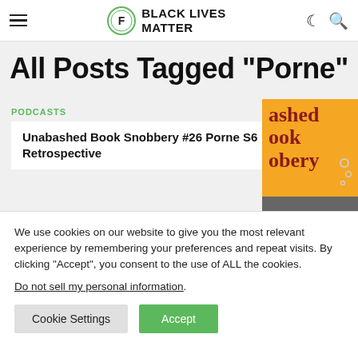BLACK LIVES MATTER
All Posts Tagged "Porne"
PODCASTS
Unabashed Book Snobbery #26 Porne S6 Retrospective
[Figure (photo): Orange book cover thumbnail showing partial text 'ashed ook obery' in dark red on orange background]
We use cookies on our website to give you the most relevant experience by remembering your preferences and repeat visits. By clicking “Accept”, you consent to the use of ALL the cookies.
Do not sell my personal information.
Cookie Settings | Accept